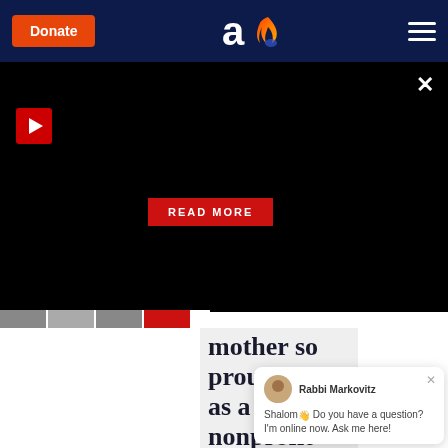[Figure (screenshot): Website header with dark navy background, orange Donate button on left, Aish.com logo (stylized 'a' with flame) in center, hamburger menu icon on right]
[Figure (screenshot): Black video/media section with red play button on left, close X button on top right, and red READ MORE button in lower center]
mother so proud and as a nonprofit organization it's your support that keeps us going
[Figure (screenshot): Chat widget in bottom right corner with Rabbi Markovitz avatar, text: Shalom! Do you have a question? I'm online now. Ask me here!]